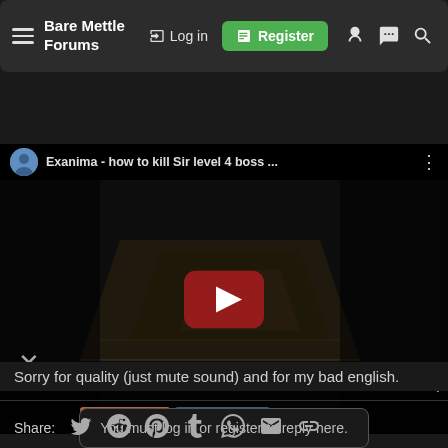Bare Mettle Forums — Log in — Register
[Figure (screenshot): YouTube video embed showing a dark game screenshot (Exanima) with a red YouTube play button in the center, a video title bar at the top reading 'Exanima - how to kill Sir level 4 boss ...', a user avatar, an X close button on the lower left, and orange/blue progress bars at the bottom.]
Sorry for quality (just mute sound) and for my bad english.
You must log in or register to reply here.
Share: